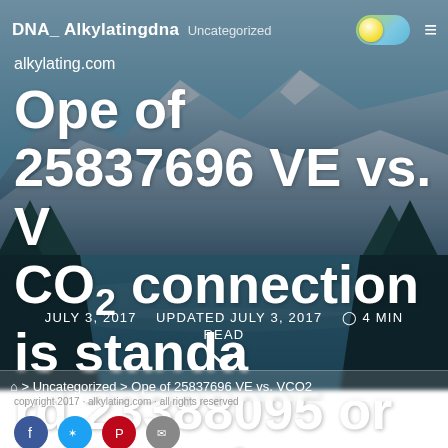DNA_ Alkylatingdna  Uncategorized  alkylating.com
Ope of 25837696 VE vs. VCO2 connection is standard 23388095 or low, getting
JULY 3, 2017  UPDATED JULY 3, 2017  4 MIN READ
> Uncategorized > Ope of 25837696 VE vs. VCO2
[Figure (photo): Mountain landscape with river and snow-capped peaks, used as hero background image]
Social sharing icons: Facebook, Twitter, Pinterest, Email